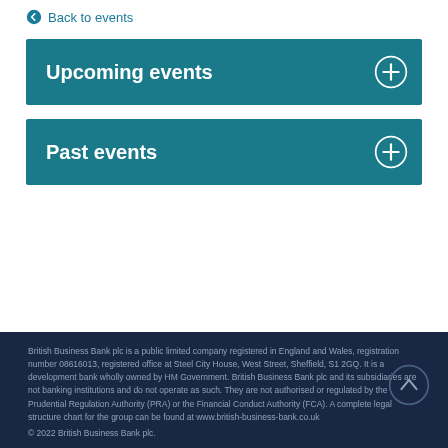Back to events
Upcoming events
Past events
British Business Bank plc is a public limited company registered in England and Wales, registration number 08616013, registered office at Steel City House, West Street, Sheffield, S1 2GQ. It is a development bank wholly owned by HM Government. British Business Bank plc and its subsidiaries are not banking institutions and do not operate as such. They are not authorised or regulated by the Prudential Regulation Authority (PRA) or the Financial Conduct Authority (FCA). A complete legal structure chart for the group can be found at www.british-business-bank.co.uk
© 2022 British Business Bank plc.